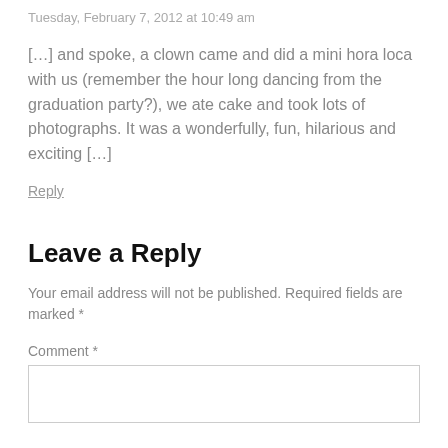Tuesday, February 7, 2012 at 10:49 am
[…] and spoke, a clown came and did a mini hora loca with us (remember the hour long dancing from the graduation party?), we ate cake and took lots of photographs. It was a wonderfully, fun, hilarious and exciting […]
Reply
Leave a Reply
Your email address will not be published. Required fields are marked *
Comment *